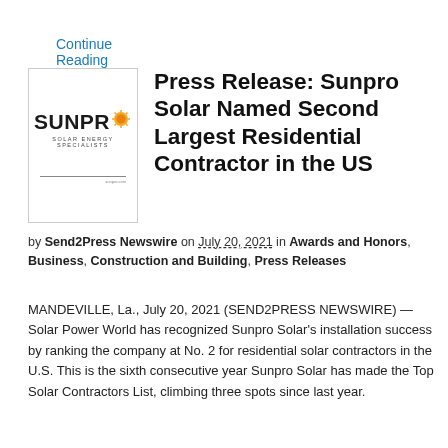Continue Reading
[Figure (logo): Sunpro Solar logo — orange sun icon with text SUNPRO in bold black, subtitle SOLAR ENERGY SPECIALISTS]
Press Release: Sunpro Solar Named Second Largest Residential Contractor in the US
by Send2Press Newswire on July 20, 2021 in Awards and Honors, Business, Construction and Building, Press Releases
MANDEVILLE, La., July 20, 2021 (SEND2PRESS NEWSWIRE) — Solar Power World has recognized Sunpro Solar's installation success by ranking the company at No. 2 for residential solar contractors in the U.S. This is the sixth consecutive year Sunpro Solar has made the Top Solar Contractors List, climbing three spots since last year.